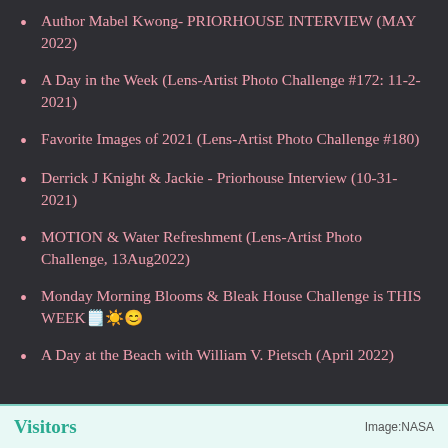Author Mabel Kwong- PRIORHOUSE INTERVIEW (MAY 2022)
A Day in the Week (Lens-Artist Photo Challenge #172: 11-2-2021)
Favorite Images of 2021 (Lens-Artist Photo Challenge #180)
Derrick J Knight & Jackie - Priorhouse Interview (10-31-2021)
MOTION & Water Refreshment (Lens-Artist Photo Challenge, 13Aug2022)
Monday Morning Blooms & Bleak House Challenge is THIS WEEK🗒️☀️😊
A Day at the Beach with William V. Pietsch (April 2022)
Visitors   Image:NASA